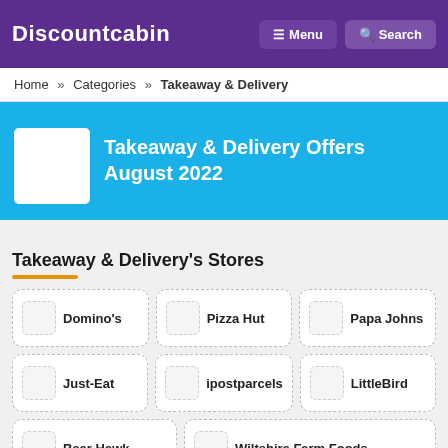Discountcabin | Menu | Search
Home » Categories » Takeaway & Delivery
Takeaway & Delivery Offers August 2022
Takeaway & Delivery's Stores
Domino's
Pizza Hut
Papa Johns
Just-Eat
ipostparcels
LittleBird
Beer Hawk
Wiltshire Farm Foods